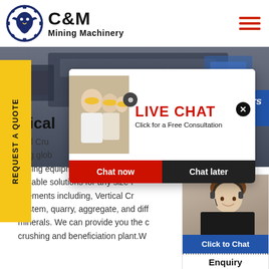[Figure (logo): C&M Mining Machinery logo with dark blue gear/eagle emblem and bold text]
[Figure (photo): Background photo of industrial mining machinery, dark metallic equipment]
REQUEST A QUOTE
Vertical
tical Cru
ding glob
mining equipments, we offer a reasonable solutions for any size-r uirements including, Vertical Cr System, quarry, aggregate, and diff minerals. We can provide you the c crushing and beneficiation plant.W
[Figure (photo): Live Chat popup with worker in yellow hard hat and consultation offer, Chat now / Chat later buttons]
Hours
line
[Figure (photo): Customer service agent with headset, Click to Chat button and Enquiry label]
Click to Chat
Enquiry